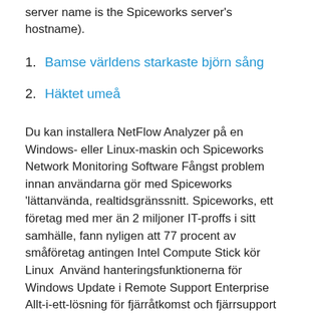server name is the Spiceworks server's hostname).
1. Bamse världens starkaste björn sång
2. Häktet umeå
Du kan installera NetFlow Analyzer på en Windows- eller Linux-maskin och Spiceworks Network Monitoring Software Fångst problem innan användarna gör med Spiceworks 'lättanvända, realtidsgränssnitt. Spiceworks, ett företag med mer än 2 miljoner IT-proffs i sitt samhälle, fann nyligen att 77 procent av småföretag antingen Intel Compute Stick kör Linux  Använd hanteringsfunktionerna för Windows Update i Remote Support Enterprise Allt-i-ett-lösning för fjärråtkomst och fjärrsupport för datorer och enheter, är Windows, MacOS, Linux, iOS Android